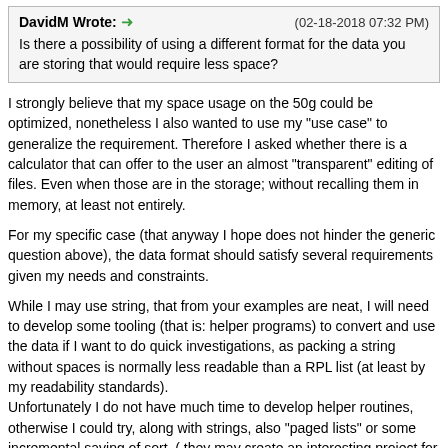DavidM Wrote: → (02-18-2018 07:32 PM)
Is there a possibility of using a different format for the data you are storing that would require less space?
I strongly believe that my space usage on the 50g could be optimized, nonetheless I also wanted to use my "use case" to generalize the requirement. Therefore I asked whether there is a calculator that can offer to the user an almost "transparent" editing of files. Even when those are in the storage; without recalling them in memory, at least not entirely.
For my specific case (that anyway I hope does not hinder the generic question above), the data format should satisfy several requirements given my needs and constraints.
While I may use string, that from your examples are neat, I will need to develop some tooling (that is: helper programs) to convert and use the data if I want to do quick investigations, as packing a string without spaces is normally less readable than a RPL list (at least by my readability standards).
Unfortunately I do not have much time to develop helper routines, otherwise I could try, along with strings, also "paged lists" or some incremental saving of sort. ( they may create an interesting project for later)